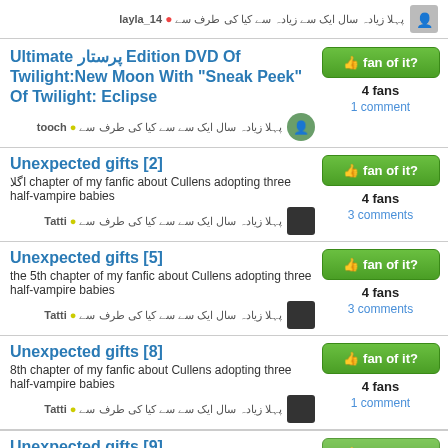پہلا زیادہ سال ایک سے زیادہ سے کیا کی طرف سے ● layla_14
Ultimate پرستار Edition DVD Of Twilight:New Moon With "Sneak Peek" Of Twilight: Eclipse
4 fans
1 comment
پہلا زیادہ سال ایک سے سے کیا کی طرف سے ● tooch
Unexpected gifts [2]
اگلا chapter of my fanfic about Cullens adopting three half-vampire babies
4 fans
3 comments
پہلا زیادہ سال ایک سے سے کیا کی طرف سے ● Tatti
Unexpected gifts [5]
the 5th chapter of my fanfic about Cullens adopting three half-vampire babies
4 fans
3 comments
پہلا زیادہ سال ایک سے سے کیا کی طرف سے ● Tatti
Unexpected gifts [8]
8th chapter of my fanfic about Cullens adopting three half-vampire babies
4 fans
1 comment
پہلا زیادہ سال ایک سے سے کیا کی طرف سے ● Tatti
Unexpected gifts [9]